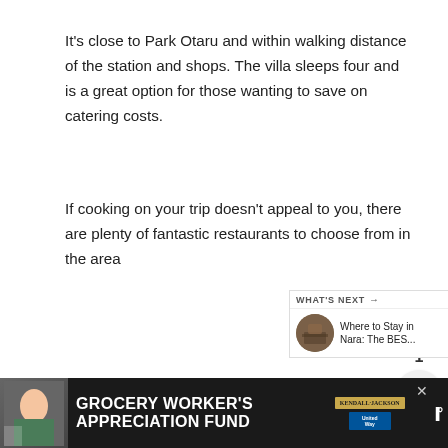It's close to Park Otaru and within walking distance of the station and shops. The villa sleeps four and is a great option for those wanting to save on catering costs.
If cooking on your trip doesn't appeal to you, there are plenty of fantastic restaurants to choose from in the area
[Figure (screenshot): UI sidebar with heart/like button (teal circle), count of 1, and share button (grey circle with share icon)]
[Figure (screenshot): What's Next widget showing a thumbnail and text 'Where to Stay in Nara: The BES...']
[Figure (screenshot): Advertisement banner for Grocery Worker's Appreciation Fund with Kendall-Jackson and United Way logos]